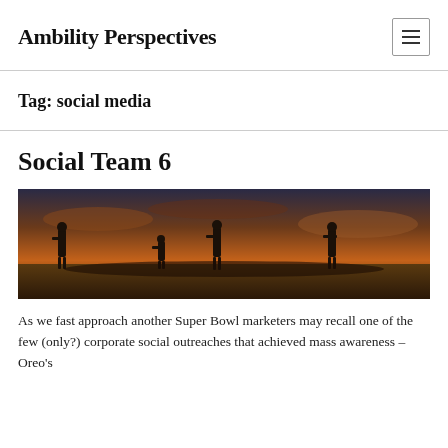Ambility Perspectives
Tag: social media
Social Team 6
[Figure (photo): Dark dramatic scene showing silhouettes of soldiers or armed figures against an orange and dark blue stormy sky backdrop.]
As we fast approach another Super Bowl marketers may recall one of the few (only?) corporate social outreaches that achieved mass awareness – Oreo's